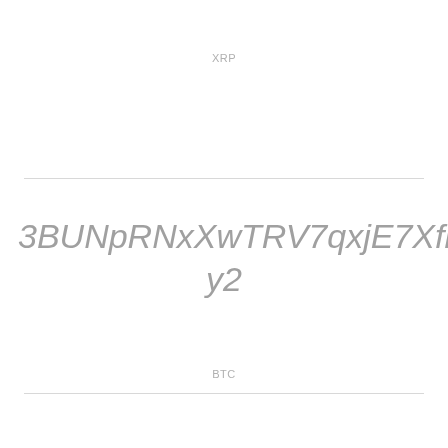XRP
3BUNpRNxXwTRV7qxjE7XfiPZn5zvjYkLy2
BTC